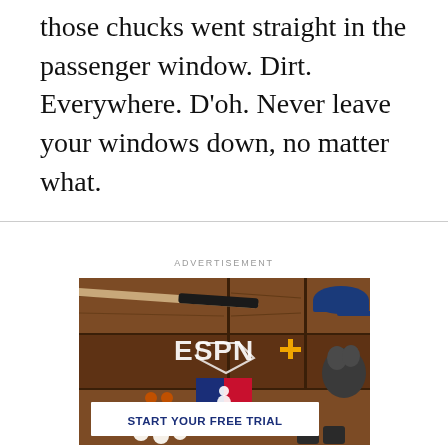those chucks went straight in the passenger window. Dirt. Everywhere. D'oh. Never leave your windows down, no matter what.
ADVERTISEMENT
[Figure (photo): ESPN+ and MLB advertisement showing baseball equipment (bat, glove, cap, baseballs, cleats) on a dark wood surface with ESPN+ and MLB logos, and a 'START YOUR FREE TRIAL' call-to-action button at the bottom.]